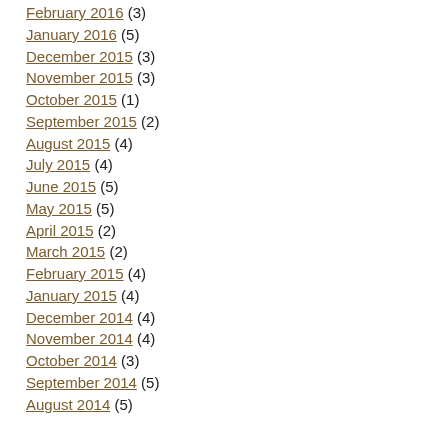February 2016 (3)
January 2016 (5)
December 2015 (3)
November 2015 (3)
October 2015 (1)
September 2015 (2)
August 2015 (4)
July 2015 (4)
June 2015 (5)
May 2015 (5)
April 2015 (2)
March 2015 (2)
February 2015 (4)
January 2015 (4)
December 2014 (4)
November 2014 (4)
October 2014 (3)
September 2014 (5)
August 2014 (5)